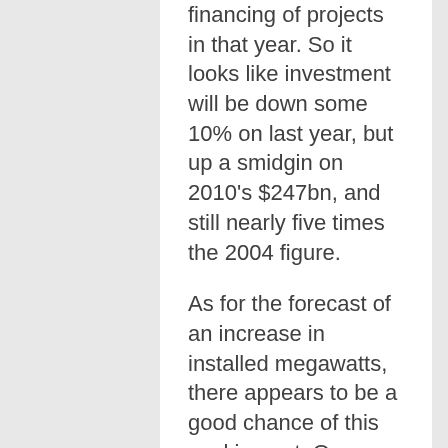financing of projects in that year. So it looks like investment will be down some 10% on last year, but up a smidgin on 2010's $247bn, and still nearly five times the 2004 figure.
As for the forecast of an increase in installed megawatts, there appears to be a good chance of this working out. Our latest estimate is that wind installations will hit a record in 2012 (more on this below), and